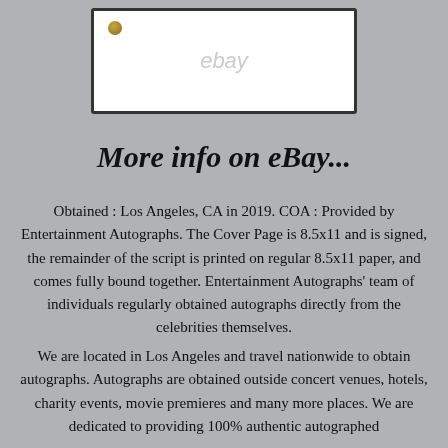[Figure (screenshot): eBay listing image showing a framed document with a small coin/stamp in the upper left corner and 'ebay' watermark text]
More info on eBay...
Obtained : Los Angeles, CA in 2019. COA : Provided by Entertainment Autographs. The Cover Page is 8.5x11 and is signed, the remainder of the script is printed on regular 8.5x11 paper, and comes fully bound together. Entertainment Autographs' team of individuals regularly obtained autographs directly from the celebrities themselves.
We are located in Los Angeles and travel nationwide to obtain autographs. Autographs are obtained outside concert venues, hotels, charity events, movie premieres and many more places. We are dedicated to providing 100% authentic autographed